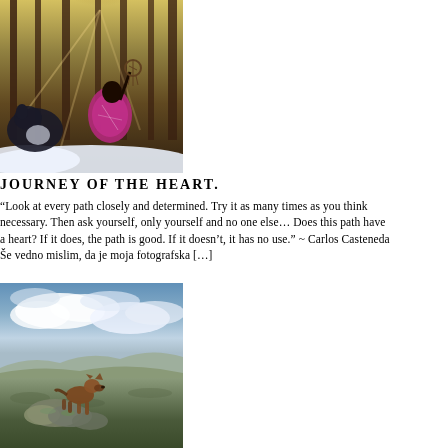[Figure (photo): Woman in colorful pink/purple patterned jacket kneeling in snowy forest with sunlight, holding a dreamcatcher up toward a Siberian Husky dog]
JOURNEY OF THE HEART.
“Look at every path closely and determined. Try it as many times as you think necessary. Then ask yourself, only yourself and no one else… Does this path have a heart? If it does, the path is good. If it doesn’t, it has no use.” ~ Carlos Casteneda
Še vedno mislim, da je moja fotografska […]
[Figure (photo): A dog (Belgian Malinois or similar breed) standing on mossy rocks in an open tundra/moorland landscape under a dramatic cloudy sky with distant mountains]